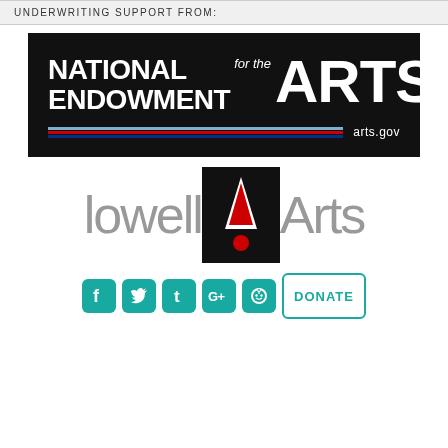UNDERWRITING SUPPORT FROM:
[Figure (logo): National Endowment for the Arts logo on black background with red/blue/white stripe and arts.gov text]
[Figure (logo): LowellArts logo with grey text 'lowell' and 'Arts' and black square icon with red triangle and dot]
[Figure (infographic): Social media icons for Facebook, Twitter, Tumblr, Google+, Reddit in teal, and a DONATE button in teal outline]